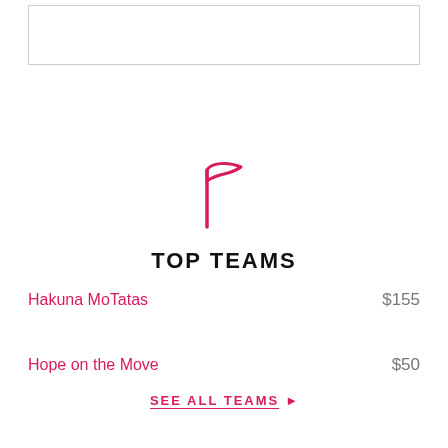[Figure (other): Empty white rectangle with border at top of page]
[Figure (illustration): Pink/magenta flag icon outline]
TOP TEAMS
Hakuna MoTatas   $155
Hope on the Move   $50
SEE ALL TEAMS ▶